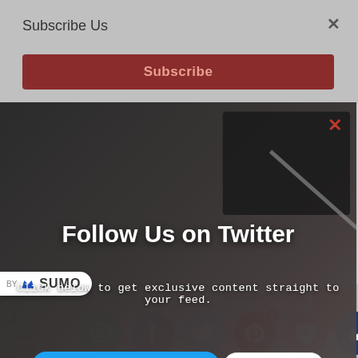Subscribe Us
×
Subscribe
[Figure (screenshot): SUMO by badge logo — white pill shape with crown icon and SUMO text]
×
Follow Us on Twitter
Click below to get exclusive content straight to your feed.
Follow @DayTechnology1   2,657 followers
1
Shares
What's in Box
Remote Control
warranty card